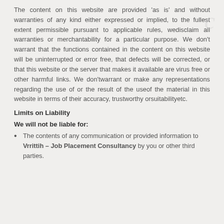The content on this website are provided 'as is' and without warranties of any kind either expressed or implied, to the fullest extent permissible pursuant to applicable rules, wedisclaim all warranties or merchantability for a particular purpose. We don't warrant that the functions contained in the content on this website will be uninterrupted or error free, that defects will be corrected, or that this website or the server that makes it available are virus free or other harmful links. We don'twarrant or make any representations regarding the use of or the result of the useof the material in this website in terms of their accuracy, trustworthy orsuitabilityetc.
Limits on Liability
We will not be liable for:
The contents of any communication or provided information to Vrrittih – Job Placement Consultancy by you or other third parties.